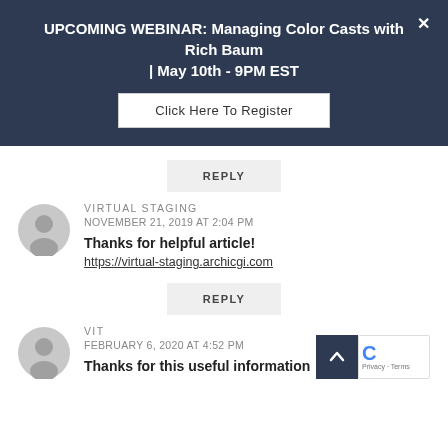UPCOMING WEBINAR: Managing Color Casts with Rich Baum | May 10th - 9PM EST
Click Here To Register
REPLY
VIRTUAL STAGING
NOVEMBER 21, 2019 AT 2:04 PM
Thanks for helpful article!
https://virtual-staging.archicgi.com
REPLY
VIT
FEBRUARY 6, 2020 AT 4:52 PM
Thanks for this useful information